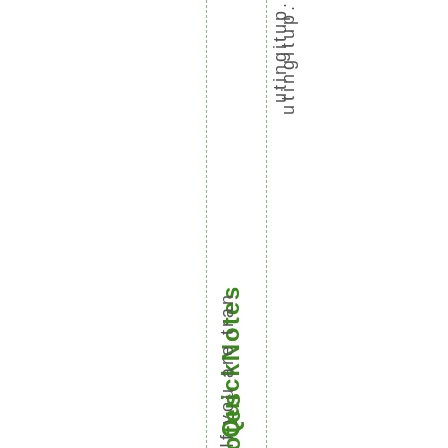u t i n g i t u p .
QuickNotes
If you are tran